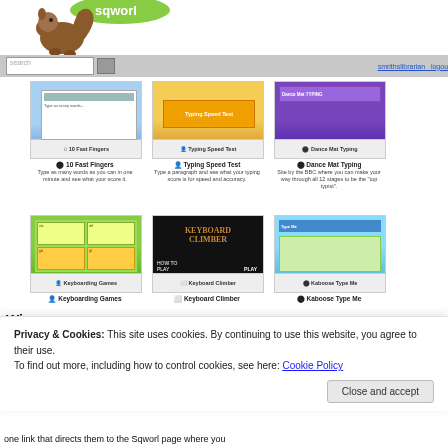[Figure (screenshot): Sqworl website header with logo (squirrel mascot and speech bubble with 'sqworl' text)]
[Figure (screenshot): Navigation bar with search field, go button, and links 'smrithslibrarian logout']
[Figure (screenshot): 10 Fast Fingers thumbnail — typing game website screenshot with blue background]
10 Fast Fingers
Type as many words as you can in one minute and see what your score it.
[Figure (screenshot): Typing Speed Test thumbnail — orange/yellow typing test website screenshot]
Typing Speed Test
Type a paragraph and see what your typing score is for speed and accuracy.
[Figure (screenshot): Dance Mat Typing thumbnail — BBC purple game website screenshot]
Dance Mat Typing
Site by the BBC where you can make your way through all 12 stages to be the "top typist".
[Figure (screenshot): Keyboarding Games thumbnail — green/colorful games website screenshot]
Keyboarding Games
[Figure (screenshot): Keyboard Climber thumbnail — dark game screenshot with 'KEYBOARD CLIMBER' title]
Keyboard Climber
[Figure (screenshot): Kaboose Type Me thumbnail — blue/green typing website screenshot]
Kaboose Type Me
Privacy & Cookies: This site uses cookies. By continuing to use this website, you agree to their use.
To find out more, including how to control cookies, see here: Cookie Policy
Close and accept
one link that directs them to the Sqworl page where you